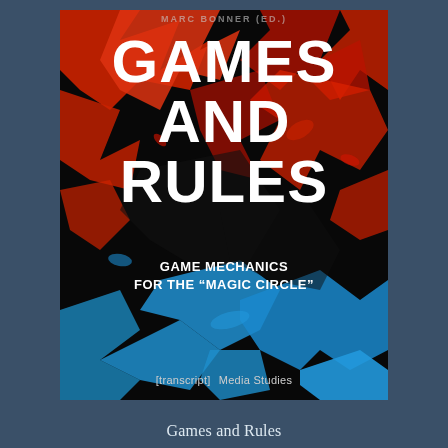[Figure (illustration): Book cover for 'Games and Rules: Game Mechanics for the Magic Circle'. Dark background with abstract splatter art in red and blue/cyan colors. Large white bold text reads GAMES AND RULES. Subtitle reads GAME MECHANICS FOR THE 'MAGIC CIRCLE'. Publisher logo [transcript] and series Media Studies at the bottom.]
Games and Rules